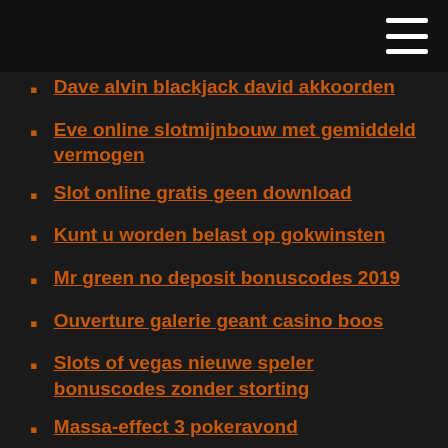Dave alvin blackjack david akkoorden
Eve online slotmijnbouw met gemiddeld vermogen
Slot online gratis geen download
Kunt u worden belast op gokwinsten
Mr green no deposit bonuscodes 2019
Ouverture galerie geant casino boos
Slots of vegas nieuwe speler bonuscodes zonder storting
Massa-effect 3 pokeravond
Gratis roulette-apps voor ipad
Downtown bingo no deposit bonuscodes 2019
Villa fortuna casino bonuscodes zonder aanbetaling 2019
Online casino gebruikerservaring